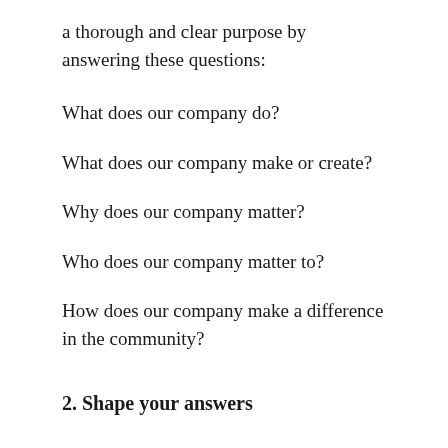a thorough and clear purpose by answering these questions:
What does our company do?
What does our company make or create?
Why does our company matter?
Who does our company matter to?
How does our company make a difference in the community?
2. Shape your answers